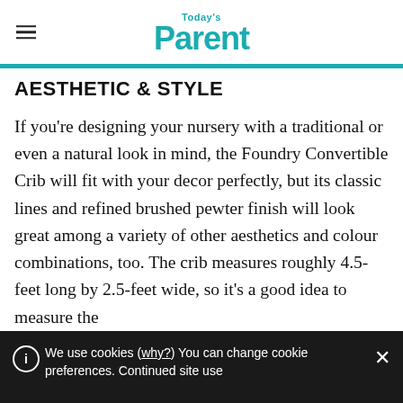Today's Parent
AESTHETIC & STYLE
If you're designing your nursery with a traditional or even a natural look in mind, the Foundry Convertible Crib will fit with your decor perfectly, but its classic lines and refined brushed pewter finish will look great among a variety of other aesthetics and colour combinations, too. The crib measures roughly 4.5-feet long by 2.5-feet wide, so it's a good idea to measure the
We use cookies (why?) You can change cookie preferences. Continued site use